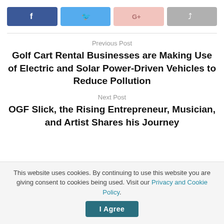[Figure (other): Row of four social share buttons: Facebook (dark blue), Twitter (light blue), Google+ (pink), Share (gray)]
Previous Post
Golf Cart Rental Businesses are Making Use of Electric and Solar Power-Driven Vehicles to Reduce Pollution
Next Post
OGF Slick, the Rising Entrepreneur, Musician, and Artist Shares his Journey
This website uses cookies. By continuing to use this website you are giving consent to cookies being used. Visit our Privacy and Cookie Policy.
I Agree